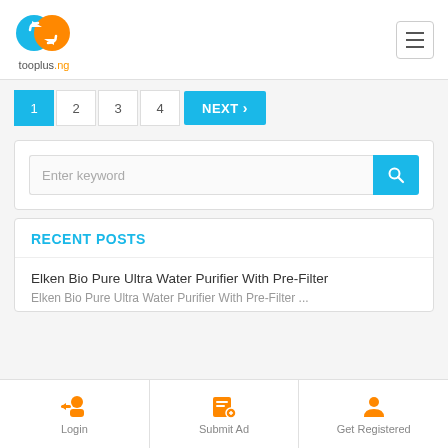[Figure (logo): tooplus.ng logo with blue and orange circular arrows icon and text tooplus.ng]
[Figure (other): Hamburger menu icon (three horizontal lines) in a rounded square button]
1 2 3 4 NEXT >
[Figure (screenshot): Search bar with placeholder text 'Enter keyword' and a blue search button with magnifying glass icon]
RECENT POSTS
Elken Bio Pure Ultra Water Purifier With Pre-Filter
Elken Bio Pure Ultra Water Purifier With Pre-Filter ...
[Figure (other): Login icon (person with arrow)]
[Figure (other): Submit Ad icon (pencil on paper)]
[Figure (other): Get Registered icon (person silhouette)]
Login  Submit Ad  Get Registered